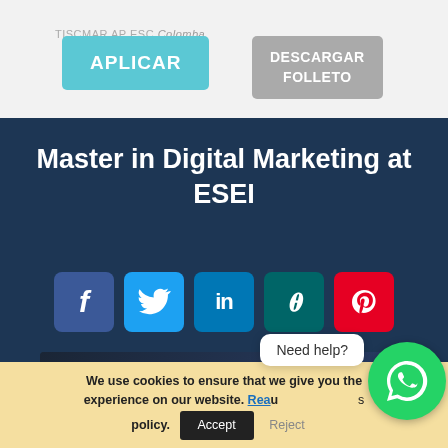to."
[Figure (screenshot): APLICAR button (teal) and DESCARGAR FOLLETO button (gray) on a light gray background, with partial text visible behind]
Master in Digital Marketing at ESEI
[Figure (infographic): Row of social media icon buttons: Facebook (blue), Twitter (light blue), LinkedIn (blue), Xing (teal/dark green), Pinterest (red)]
[Figure (screenshot): YouTube video thumbnail showing ESEI logo and title 'Master in Digital Marketing' with a woman in front of social media icons background]
We use cookies to ensure that we give you the experience on our website. Rea... u... s policy.
Need help?